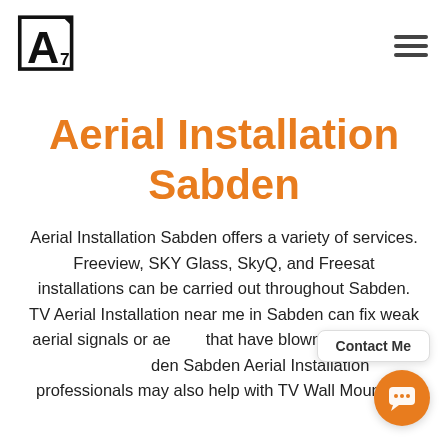[Figure (logo): Logo with letter A inside a rectangular border with a lightning bolt/7 shape, in black and white]
Aerial Installation Sabden
Aerial Installation Sabden offers a variety of services. Freeview, SKY Glass, SkyQ, and Freesat installations can be carried out throughout Sabden. TV Aerial Installation near me in Sabden can fix weak aerial signals or aerials that have blown down due to wind. Sabden Aerial Installation professionals may also help with TV Wall Mounting.